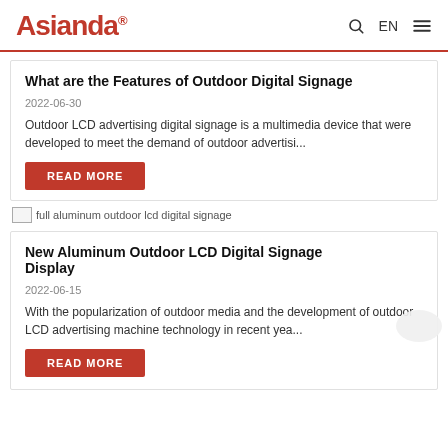Asianda® EN
What are the Features of Outdoor Digital Signage
2022-06-30
Outdoor LCD advertising digital signage is a multimedia device that were developed to meet the demand of outdoor advertisi...
READ MORE
[Figure (photo): full aluminum outdoor lcd digital signage thumbnail image]
New Aluminum Outdoor LCD Digital Signage Display
2022-06-15
With the popularization of outdoor media and the development of outdoor LCD advertising machine technology in recent yea...
READ MORE